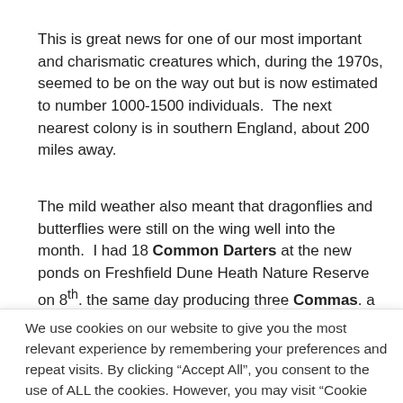This is great news for one of our most important and charismatic creatures which, during the 1970s, seemed to be on the way out but is now estimated to number 1000-1500 individuals.  The next nearest colony is in southern England, about 200 miles away.
The mild weather also meant that dragonflies and butterflies were still on the wing well into the month.  I had 18 Common Darters at the new ponds on Freshfield Dune Heath Nature Reserve on 8th. the same day producing three Commas. a Painted Lady and
We use cookies on our website to give you the most relevant experience by remembering your preferences and repeat visits. By clicking "Accept All", you consent to the use of ALL the cookies. However, you may visit "Cookie Settings" to provide a controlled consent.
Cookie Settings | Accept All